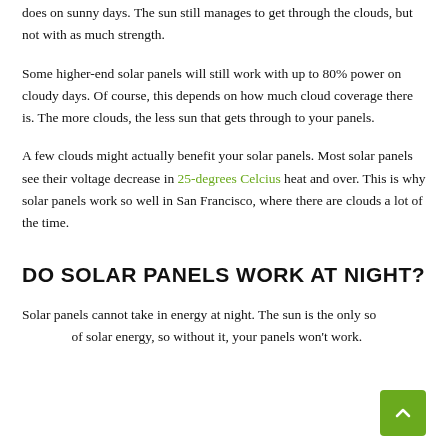does on sunny days. The sun still manages to get through the clouds, but not with as much strength.
Some higher-end solar panels will still work with up to 80% power on cloudy days. Of course, this depends on how much cloud coverage there is. The more clouds, the less sun that gets through to your panels.
A few clouds might actually benefit your solar panels. Most solar panels see their voltage decrease in 25-degrees Celcius heat and over. This is why solar panels work so well in San Francisco, where there are clouds a lot of the time.
DO SOLAR PANELS WORK AT NIGHT?
Solar panels cannot take in energy at night. The sun is the only source of solar energy, so without it, your panels won't work.